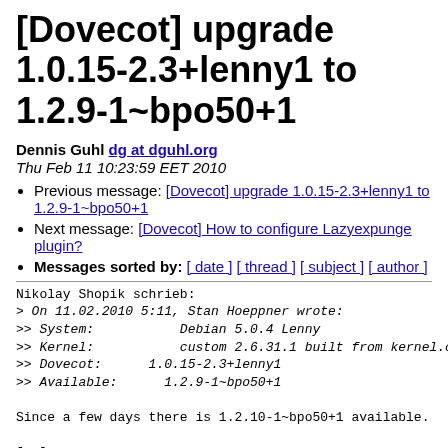[Dovecot] upgrade 1.0.15-2.3+lenny1 to 1.2.9-1~bpo50+1
Dennis Guhl dg at dguhl.org
Thu Feb 11 10:23:59 EET 2010
Previous message: [Dovecot] upgrade 1.0.15-2.3+lenny1 to 1.2.9-1~bpo50+1
Next message: [Dovecot] How to configure Lazyexpunge plugin?
Messages sorted by: [ date ] [ thread ] [ subject ] [ author ]
Nikolay Shopik schrieb:
> On 11.02.2010 5:11, Stan Hoeppner wrote:
>> System:           Debian 5.0.4 Lenny
>> Kernel:           custom 2.6.31.1 built from kernel.c
>> Dovecot:      1.0.15-2.3+lenny1
>> Available:      1.2.9-1~bpo50+1

Since a few days there is 1.2.10-1~bpo50+1 available.

[..]

>> Before I do this upgrade I figured I'd ask first to s